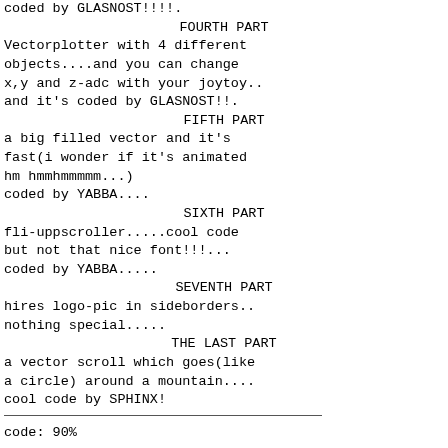coded by GLASNOST!!!!.
FOURTH PART
Vectorplotter with 4 different
objects....and you can change
x,y and z-adc with your joytoy..
and it's coded by GLASNOST!!.
FIFTH PART
a big filled vector and it's
fast(i wonder if it's animated
hm hmmhmmmmm...)
coded by YABBA....
SIXTH PART
fli-uppscroller.....cool code
but not that nice font!!!...
coded by YABBA.....
SEVENTH PART
hires logo-pic in sideborders..
nothing special.....
THE LAST PART
a vector scroll which goes(like
a circle) around a mountain....
cool code by SPHINX!
code: 90%

design+gfx: 67%      overall: 67%

music: 81%
CRAZY 'THAT'S DESIGN'
<<<<<<<<<<<<<<<<<<<<<<<<<<<<<<
this demo includes some nice
graphics by GOTCHA! first comes
THE INTRO as allways but it